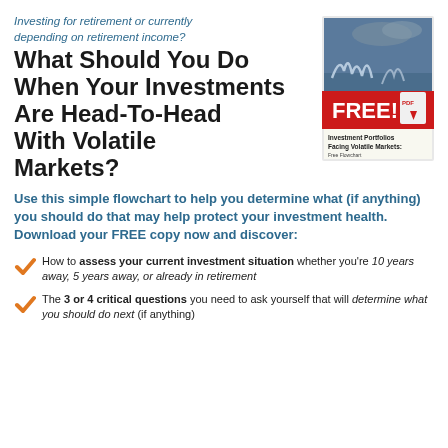Investing for retirement or currently depending on retirement income?
What Should You Do When Your Investments Are Head-To-Head With Volatile Markets?
[Figure (illustration): Book cover for 'Investment Portfolios Facing Volatile Markets' with a FREE PDF download badge and a red banner.]
Use this simple flowchart to help you determine what (if anything) you should do that may help protect your investment health. Download your FREE copy now and discover:
How to assess your current investment situation whether you're 10 years away, 5 years away, or already in retirement
The 3 or 4 critical questions you need to ask yourself that will determine what you should do next (if anything)